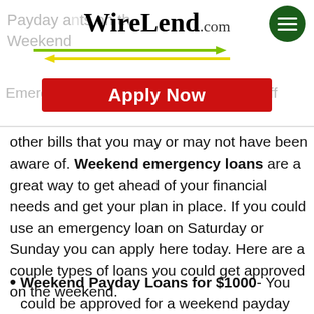[Figure (logo): WireLend.com logo with two arrows (green right-pointing and yellow left-pointing) below the text, and a dark green circular hamburger menu button on the right]
[Figure (other): Red 'Apply Now' button with white bold text]
other bills that you may or may not have been aware of. Weekend emergency loans are a great way to get ahead of your financial needs and get your plan in place. If you could use an emergency loan on Saturday or Sunday you can apply here today. Here are a couple types of loans you could get approved on the weekend.
Weekend Payday Loans for $1000- You could be approved for a weekend payday